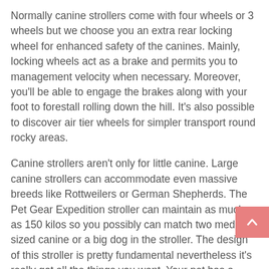Normally canine strollers come with four wheels or 3 wheels but we choose you an extra rear locking wheel for enhanced safety of the canines. Mainly, locking wheels act as a brake and permits you to management velocity when necessary. Moreover, you'll be able to engage the brakes along with your foot to forestall rolling down the hill. It's also possible to discover air tier wheels for simpler transport round rocky areas.
Canine strollers aren't only for little canine. Large canine strollers can accommodate even massive breeds like Rottweilers or German Shepherds. The Pet Gear Expedition stroller can maintain as much as 150 kilos so you possibly can match two medium sized canine or a big dog in the stroller. The design of this stroller is pretty fundamental nevertheless it's really got all the things you want. Your pet has a good view out of the entrance, facet and back home windows.
The canopy of this best canine stroller is manufactured from a water-proof material, which is an added bonus in your pooch if you get caught in a rain storm. This stroller